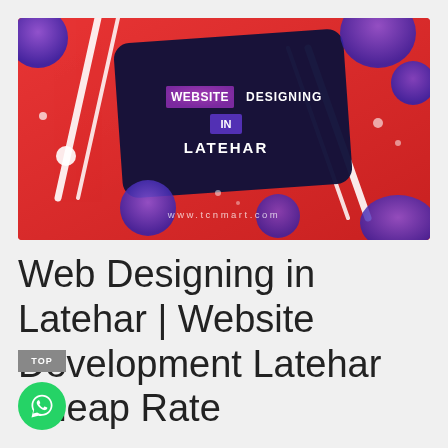[Figure (illustration): Promotional banner for website designing services in Latehar. Red background with dark navy geometric shape, colorful blue/purple blob shapes, diagonal white lines, text reading 'WEBSITE DESIGNING IN LATEHAR' and URL www.tcnmart.com]
Web Designing in Latehar | Website Development Latehar Cheap Rate